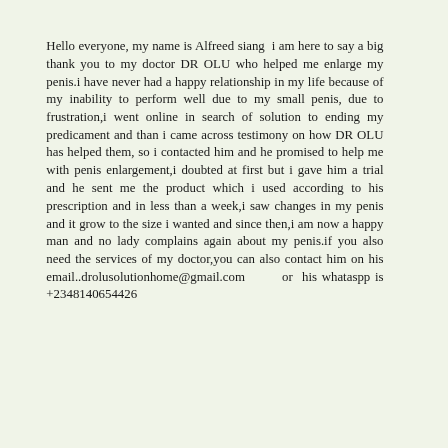Hello everyone, my name is Alfreed siang  i am here to say a big thank you to my doctor DR OLU who helped me enlarge my penis.i have never had a happy relationship in my life because of my inability to perform well due to my small penis, due to frustration,i went online in search of solution to ending my predicament and than i came across testimony on how DR OLU has helped them, so i contacted him and he promised to help me with penis enlargement,i doubted at first but i gave him a trial and he sent me the product which i used according to his prescription and in less than a week,i saw changes in my penis and it grow to the size i wanted and since then,i am now a happy man and no lady complains again about my penis.if you also need the services of my doctor,you can also contact him on his email..drolusolutionhome@gmail.com or his whataspp is +2348140654426